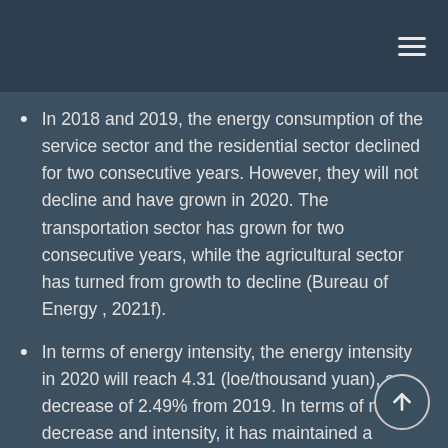In 2018 and 2019, the energy consumption of the service sector and the residential sector declined for two consecutive years. However, they will not decline and have grown in 2020. The transportation sector has grown for two consecutive years, while the agricultural sector has turned from growth to decline (Bureau of Energy , 2021f).
In terms of energy intensity, the energy intensity in 2020 will reach 4.31 (loe/thousand yuan), a decrease of 2.49% from 2019. In terms of rate of decrease and intensity, it has maintained a continuous downward trend since 2014 (Bureau of Energy,